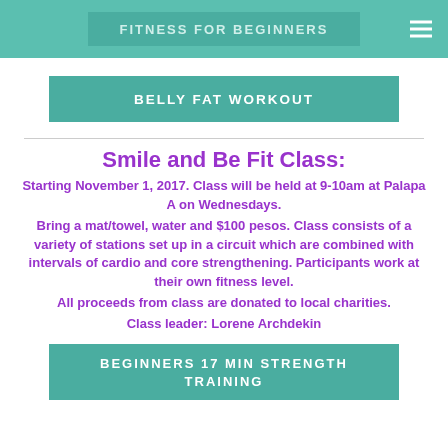FITNESS FOR BEGINNERS
BELLY FAT WORKOUT
Smile and Be Fit Class:
Starting November 1, 2017.   Class will be held at 9-10am at Palapa A on Wednesdays.
Bring a mat/towel, water and $100 pesos.  Class consists of a variety of stations set up in a circuit which are combined with intervals of cardio and core strengthening.   Participants work at their own fitness level.
All proceeds from class are donated to local charities.
Class leader:  Lorene Archdekin
BEGINNERS 17 MIN STRENGTH TRAINING